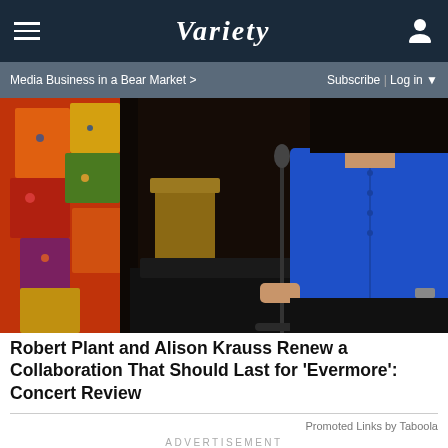VARIETY
Media Business in a Bear Market >
Subscribe | Log in
[Figure (photo): Concert photo showing Robert Plant in blue shirt holding microphone stand, with colorful patchwork fabric/clothing on the left side of the frame, on a dimly lit stage]
Robert Plant and Alison Krauss Renew a Collaboration That Should Last for 'Evermore': Concert Review
Promoted Links by Taboola
ADVERTISEMENT